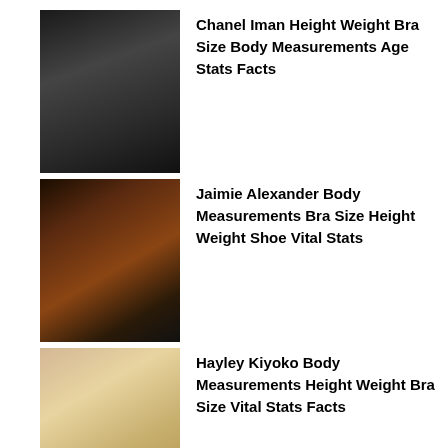[Figure (photo): Photo of Chanel Iman, a woman with long dark hair]
Chanel Iman Height Weight Bra Size Body Measurements Age Stats Facts
[Figure (photo): Photo of Jaimie Alexander in a dress at an event]
Jaimie Alexander Body Measurements Bra Size Height Weight Shoe Vital Stats
[Figure (photo): Photo of Hayley Kiyoko, a blonde woman]
Hayley Kiyoko Body Measurements Height Weight Bra Size Vital Stats Facts
Tasya Teles Body Measurements Height Weight Bra Size Facts Family
Calvin Harris Body Measurements Height Weight Age Vital Stats